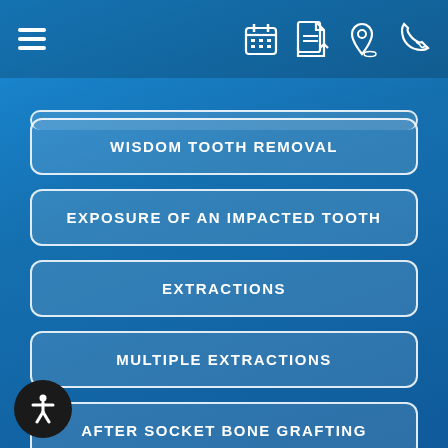Navigation header with hamburger menu and icons
WISDOM TOOTH REMOVAL
EXPOSURE OF AN IMPACTED TOOTH
EXTRACTIONS
MULTIPLE EXTRACTIONS
AFTER SOCKET BONE GRAFTING
AFTER CORTICAL ONLAY GRAFTING